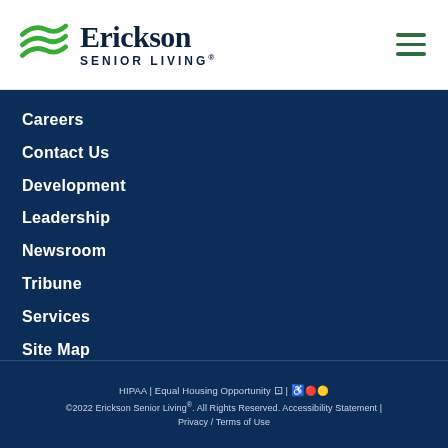[Figure (logo): Erickson Senior Living logo with green wave design and dark navy text]
Careers
Contact Us
Development
Leadership
Newsroom
Tribune
Services
Site Map
HIPAA | Equal Housing Opportunity | ©2022 Erickson Senior Living®. All Rights Reserved. Accessibility Statement | Privacy / Terms of Use